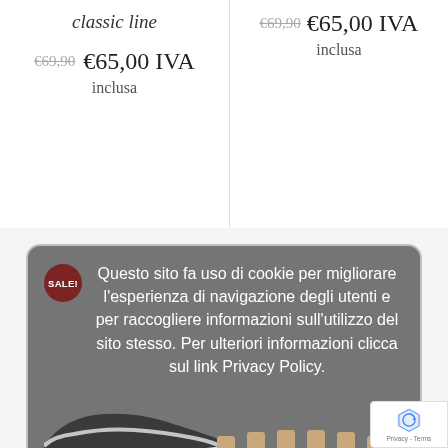classic line
€69,90  €65,00 IVA inclusa
€69,90  €65,00 IVA inclusa
Questo sito fa uso di cookie per migliorare l'esperienza di navigazione degli utenti e per raccogliere informazioni sull'utilizzo del sito stesso. Per ulteriori informazioni clicca sul link Privacy Policy.
Privacy policy
ACCETTO
Laced Lady's Urban Espadrillas in Technical Bio-Fabric Comfortable and Cool For The
Time-less Slipper Sandal Replica Model Amore Her Style in Genuin White Leather Made